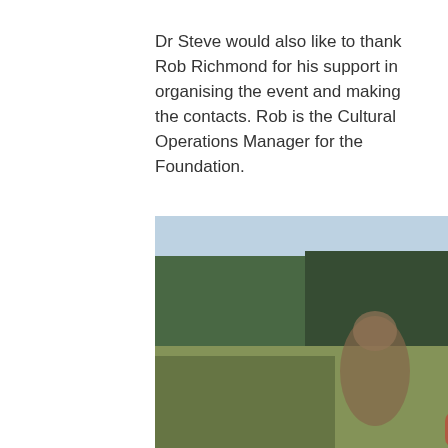Dr Steve would also like to thank Rob Richmond for his support in organising the event and making the contacts. Rob is the Cultural Operations Manager for the Foundation.
[Figure (photo): A blurred outdoor photograph showing a group of people standing together in a grassy area with trees in the background. The image appears to show several individuals, one wearing a black shirt with text, another in a teal/blue shirt, and another in a red top. The background has dark green trees and a light blue sky.]